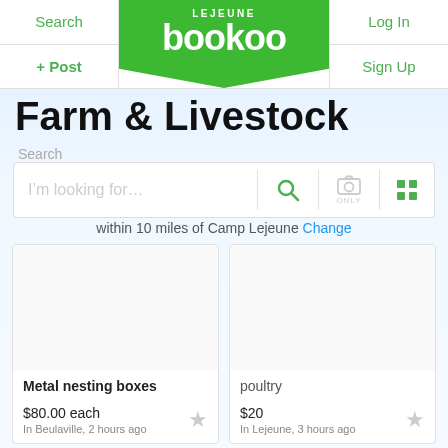LEJEUNE bookoo | Search | + Post | Log In | Sign Up
Farm & Livestock
Search
I'm looking for...
within 10 miles of Camp Lejeune Change
Metal nesting boxes
$80.00 each
In Beulaville, 2 hours ago
poultry
$20
In Lejeune, 3 hours ago